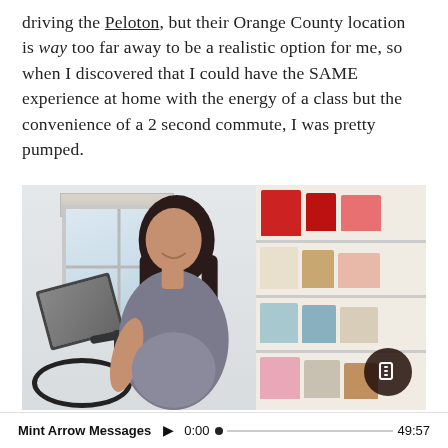driving the Peloton, but their Orange County location is way too far away to be a realistic option for me, so when I discovered that I could have the SAME experience at home with the energy of a class but the convenience of a 2 second commute, I was pretty pumped.
[Figure (photo): A pregnant woman in a gray tank top stands next to a Peloton exercise bike in a room with white walls and a window, next to a shelving unit filled with colorful handbags.]
Mint Arrow Messages  ▶  0:00  •  ————————————————  49:57